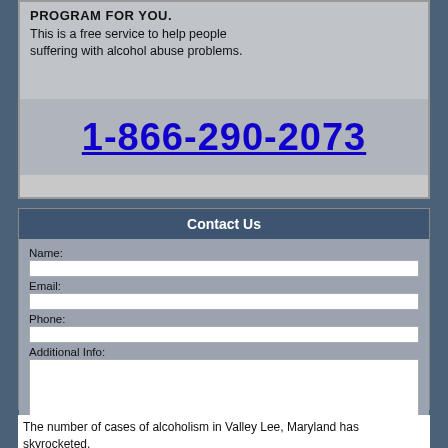[Figure (screenshot): Banner showing text 'PROGRAM FOR YOU. This is a free service to help people suffering with alcohol abuse problems.' and a phone number 1-866-290-2073 displayed in large blue underlined text on a grey background, with a person in a suit visible on the right side.]
Contact Us
Name:
Email:
Phone:
Additional Info:
Get Help Now
The number of cases of alcoholism in Valley Lee, Maryland has skyrocketed,